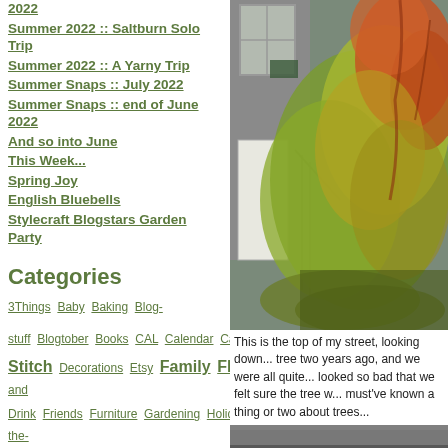2022
Summer 2022 :: Saltburn Solo Trip
Summer 2022 :: A Yarny Trip
Summer Snaps :: July 2022
Summer Snaps :: end of June 2022
And so into June
This Week...
Spring Joy
English Bluebells
Stylecraft Blogstars Garden Party
Categories
3Things  Baby  Baking  Blog-stuff  Blogtober  Books  CAL  Calendar  Caravan  Celebrations  Cheerfulness  Children  Craft  Crochet  Cross Stitch  Decorations  Etsy  Family  Flowers  Food  Food and Drink  Friends  Furniture  Gardening  Holidays  Home  House  in-the-bag  Inspiration  Knitting  Lovely*Things  magazines
[Figure (photo): Photograph of autumn foliage on a bush/tree at the top of a stone-terraced street, with a white door and metal railings visible]
This is the top of my street, looking down... tree two years ago, and we were all quite... looked so bad that we felt sure the tree w... must've known a thing or two about trees...
[Figure (photo): Partial view of a road surface, bottom of page]